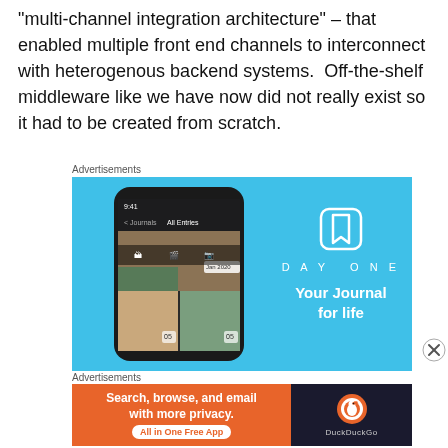“multi-channel integration architecture” – that enabled multiple front end channels to interconnect with heterogenous backend systems.  Off-the-shelf middleware like we have now did not really exist so it had to be created from scratch.
Advertisements
[Figure (photo): DayOne app advertisement showing a smartphone with photo journal interface on a light blue background, with the DayOne logo and tagline 'Your Journal for life' on the right side.]
Advertisements
[Figure (photo): DuckDuckGo advertisement with orange left panel reading 'Search, browse, and email with more privacy. All in One Free App' and dark right panel showing DuckDuckGo logo.]